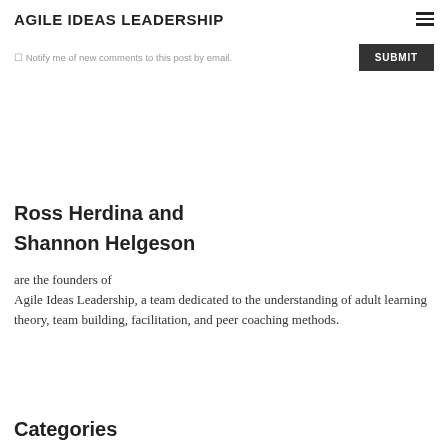AGILE IDEAS LEADERSHIP
Notify me of new comments to this post by email.
SUBMIT
Ross Herdina and
Shannon Helgeson
are the founders of
Agile Ideas Leadership, a team dedicated to the understanding of adult learning theory, team building, facilitation, and peer coaching methods.
Categories